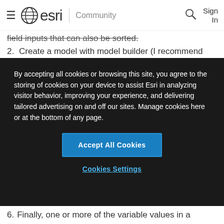esri Community
field inputs that can also be sorted.
2. Create a model with model builder (I recommend putting the model in the same toolbox as the script tool and setting it to use relative paths).
3. Then, in model builder, go to Insert > Create
By accepting all cookies or browsing this site, you agree to the storing of cookies on your device to assist Esri in analyzing visitor behavior, improving your experience, and delivering tailored advertising on and off our sites. Manage cookies here or at the bottom of any page.
Accept All Cookies
Cookies Settings
6. Finally, one or more of the variable values in a